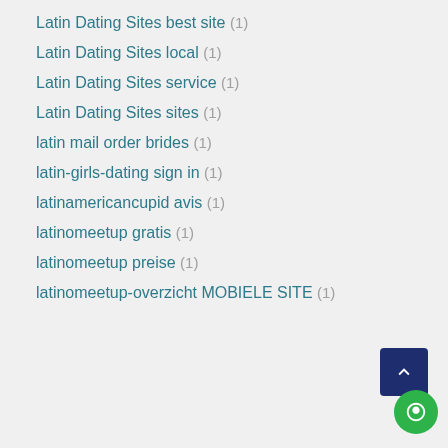Latin Dating Sites best site (1)
Latin Dating Sites local (1)
Latin Dating Sites service (1)
Latin Dating Sites sites (1)
latin mail order brides (1)
latin-girls-dating sign in (1)
latinamericancupid avis (1)
latinomeetup gratis (1)
latinomeetup preise (1)
latinomeetup-overzicht MOBIELE SITE (1)